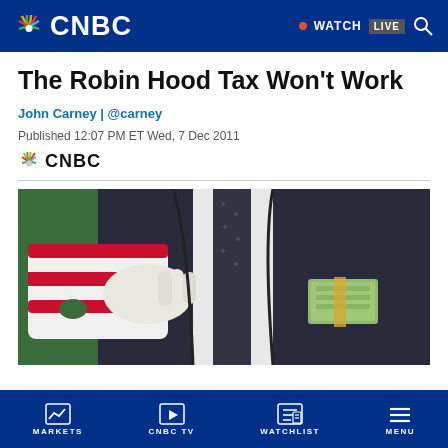CNBC — WATCH LIVE
The Robin Hood Tax Won't Work
John Carney | @carney
Published 12:07 PM ET Wed, 7 Dec 2011
[Figure (logo): CNBC logo with NBC peacock]
[Figure (photo): Person in suit holding American flag-themed bag with white gloved hand, while another hand holds a stack of dollar bills tucked into jacket pocket]
MARKETS   CNBC TV   WATCHLIST   MENU